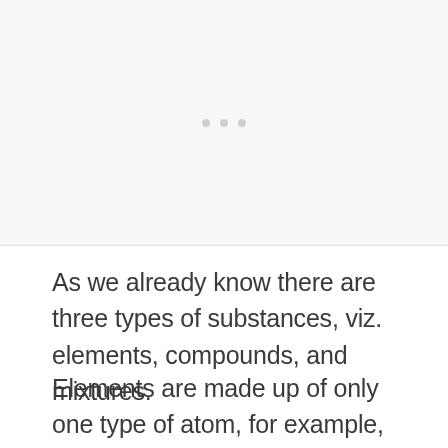[Figure (other): Placeholder image area with faint dots, representing an illustration or diagram not fully rendered]
As we already know there are three types of substances, viz. elements, compounds, and mixtures.
Elements are made up of only one type of atom, for example, copper, zinc, etc.